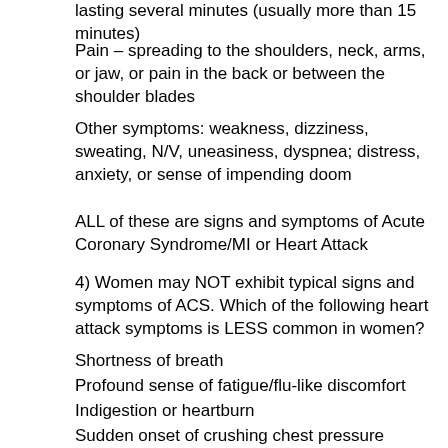lasting several minutes (usually more than 15 minutes)
Pain – spreading to the shoulders, neck, arms, or jaw, or pain in the back or between the shoulder blades
Other symptoms: weakness, dizziness, sweating, N/V, uneasiness, dyspnea; distress, anxiety, or sense of impending doom
ALL of these are signs and symptoms of Acute Coronary Syndrome/MI or Heart Attack
4) Women may NOT exhibit typical signs and symptoms of ACS. Which of the following heart attack symptoms is LESS common in women?
Shortness of breath
Profound sense of fatigue/flu-like discomfort
Indigestion or heartburn
Sudden onset of crushing chest pressure
5) The next priority in his assessment (within 10 minutes of arrival) is
Obtain a 12 lead ECG and have it interpreted by a physician.
Exercise stress test
Portable chest X-ray
CT scan